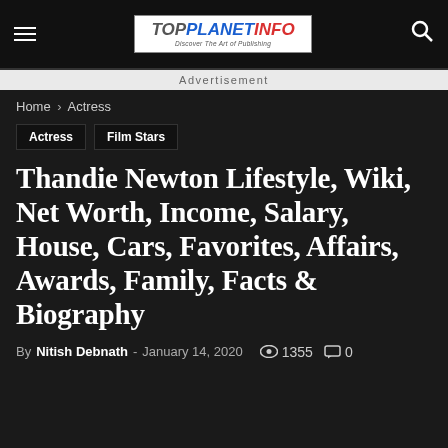TopPlanetInfo – Discover The Art of Publishing
Advertisement
Home › Actress
Actress
Film Stars
Thandie Newton Lifestyle, Wiki, Net Worth, Income, Salary, House, Cars, Favorites, Affairs, Awards, Family, Facts & Biography
By Nitish Debnath - January 14, 2020  1355  0